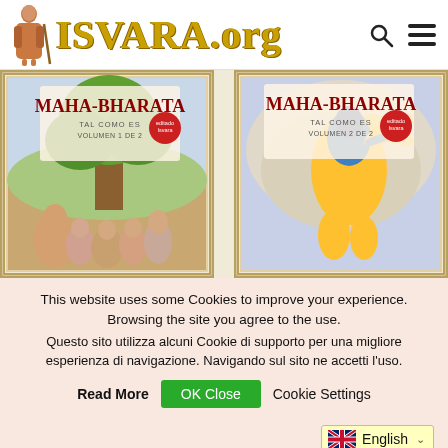[Figure (logo): ISVARA.org website header with monk figure, golden logo text, search icon and hamburger menu icon]
[Figure (photo): Two book covers of MAHA-BHARATA TAL COMO ES, Volumen 1 de 2 and Volumen 2 de 2, published by Isvara]
This website uses some Cookies to improve your experience. Browsing the site you agree to the use.
Questo sito utilizza alcuni Cookie di supporto per una migliore esperienza di navigazione. Navigando sul sito ne accetti l'uso.
Read More  OK Close  Cookie Settings
English